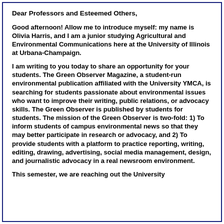Dear Professors and Esteemed Others,
Good afternoon! Allow me to introduce myself: my name is Olivia Harris, and I am a junior studying Agricultural and Environmental Communications here at the University of Illinois at Urbana-Champaign.
I am writing to you today to share an opportunity for your students. The Green Observer Magazine, a student-run environmental publication affiliated with the University YMCA, is searching for students passionate about environmental issues who want to improve their writing, public relations, or advocacy skills. The Green Observer is published by students for students. The mission of the Green Observer is two-fold: 1) To inform students of campus environmental news so that they may better participate in research or advocacy, and 2) To provide students with a platform to practice reporting, writing, editing, drawing, advertising, social media management, design, and journalistic advocacy in a real newsroom environment.
This semester, we are reaching out the University